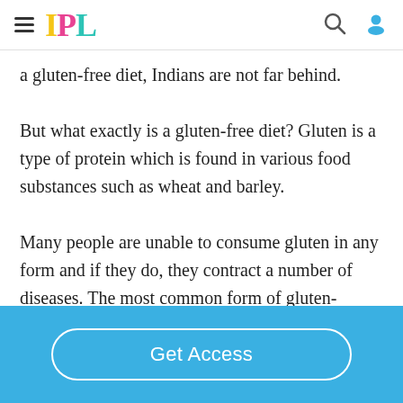IPL
a gluten-free diet, Indians are not far behind. But what exactly is a gluten-free diet? Gluten is a type of protein which is found in various food substances such as wheat and barley. Many people are unable to consume gluten in any form and if they do, they contract a number of diseases. The most common form of gluten-intolerance causes the celiac
Get Access